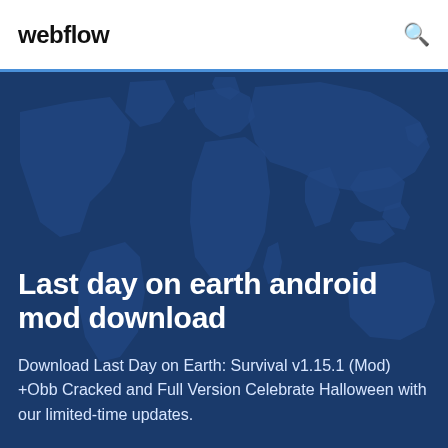webflow
[Figure (illustration): Dark blue hero banner with a world map silhouette in the background]
Last day on earth android mod download
Download Last Day on Earth: Survival v1.15.1 (Mod) +Obb Cracked and Full Version Celebrate Halloween with our limited-time updates.